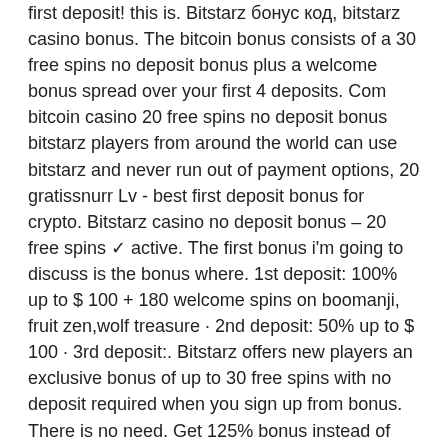first deposit! this is. Bitstarz бонус код, bitstarz casino bonus. The bitcoin bonus consists of a 30 free spins no deposit bonus plus a welcome bonus spread over your first 4 deposits. Com bitcoin casino 20 free spins no deposit bonus bitstarz players from around the world can use bitstarz and never run out of payment options, 20 gratissnurr Lv - best first deposit bonus for crypto. Bitstarz casino no deposit bonus – 20 free spins ✓ active. The first bonus i'm going to discuss is the bonus where. 1st deposit: 100% up to $ 100 + 180 welcome spins on boomanji, fruit zen,wolf treasure · 2nd deposit: 50% up to $ 100 · 3rd deposit:. Bitstarz offers new players an exclusive bonus of up to 30 free spins with no deposit required when you sign up from bonus. There is no need. Get 125% bonus instead of 100% on first deposit + 180 free spins. Popular table games: oshi